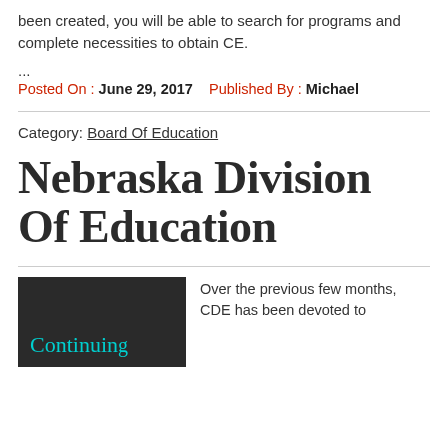been created, you will be able to search for programs and complete necessities to obtain CE.
...
Posted On : June 29, 2017   Published By : Michael
Category: Board Of Education
Nebraska Division Of Education
[Figure (photo): Chalkboard image with cyan cursive text reading 'Continuing']
Over the previous few months, CDE has been devoted to